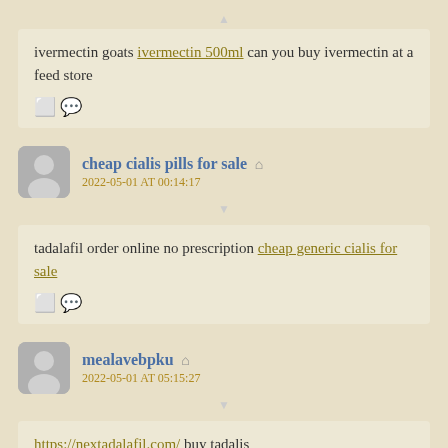ivermectin goats ivermectin 500ml can you buy ivermectin at a feed store
cheap cialis pills for sale
2022-05-01 AT 00:14:17
tadalafil order online no prescription cheap generic cialis for sale
mealavebpku
2022-05-01 AT 05:15:27
https://nextadalafil.com/ buy tadalis